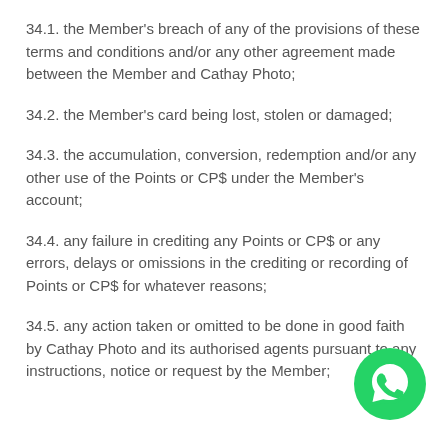34.1. the Member's breach of any of the provisions of these terms and conditions and/or any other agreement made between the Member and Cathay Photo;
34.2. the Member's card being lost, stolen or damaged;
34.3. the accumulation, conversion, redemption and/or any other use of the Points or CP$ under the Member's account;
34.4. any failure in crediting any Points or CP$ or any errors, delays or omissions in the crediting or recording of Points or CP$ for whatever reasons;
34.5. any action taken or omitted to be done in good faith by Cathay Photo and its authorised agents pursuant to any instructions, notice or request by the Member;